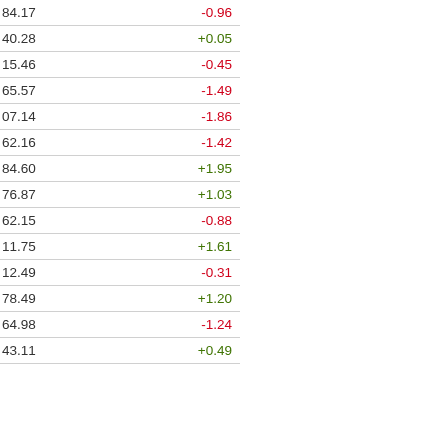| Price | Change |
| --- | --- |
| 84.17 | -0.96 |
| 40.28 | +0.05 |
| 15.46 | -0.45 |
| 65.57 | -1.49 |
| 07.14 | -1.86 |
| 62.16 | -1.42 |
| 84.60 | +1.95 |
| 76.87 | +1.03 |
| 62.15 | -0.88 |
| 11.75 | +1.61 |
| 12.49 | -0.31 |
| 78.49 | +1.20 |
| 64.98 | -1.24 |
| 43.11 | +0.49 |